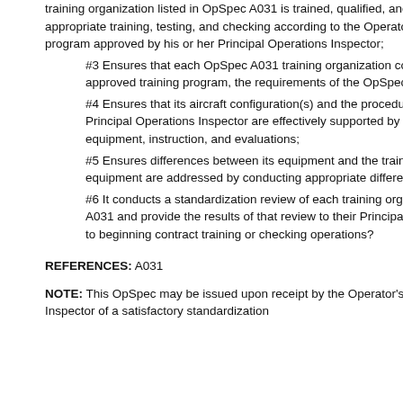training organization listed in OpSpec A031 is trained, qualified, and authorized to conduct the appropriate training, testing, and checking according to the Operator's rules and the training program approved by his or her Principal Operations Inspector;
#3 Ensures that each OpSpec A031 training organization complies with the Operator's approved training program, the requirements of the OpSpec, and all CFRs;
#4 Ensures that its aircraft configuration(s) and the procedures approved by the Principal Operations Inspector are effectively supported by the training organization's equipment, instruction, and evaluations;
#5 Ensures differences between its equipment and the training organization's equipment are addressed by conducting appropriate differences training; and
#6 It conducts a standardization review of each training organization listed in OpSpec A031 and provide the results of that review to their Principal Operations Inspector prior to beginning contract training or checking operations?
REFERENCES: A031
NOTE: This OpSpec may be issued upon receipt by the Operator's Principle Operator Inspector of a satisfactory standardization review.